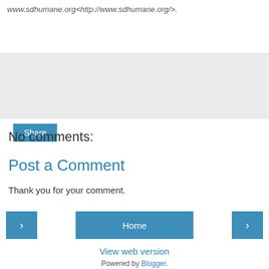www.sdhumane.org<http://www.sdhumane.org/>.
[Figure (other): Share button inside a light gray box]
No comments:
Post a Comment
Thank you for your comment.
[Figure (other): Navigation row with left arrow button, Home button, and right arrow button]
View web version
Powered by Blogger.